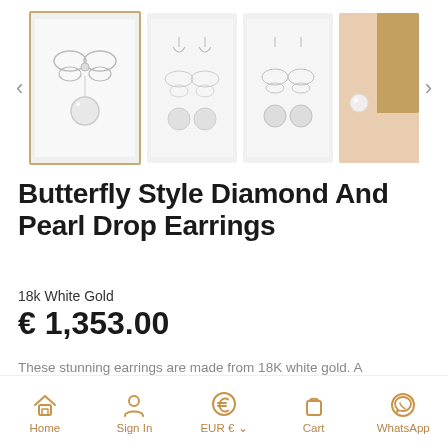[Figure (screenshot): E-commerce product page for Butterfly Style Diamond And Pearl Drop Earrings showing image carousel with 5 thumbnail images (earring product shots and model wearing earrings), product title, material, price EUR 1353.00, partial description text, and bottom navigation bar with Home, Sign In, EUR currency, Cart, WhatsApp icons.]
Butterfly Style Diamond And Pearl Drop Earrings
18k White Gold
€ 1,353.00
These stunning earrings are made from 18K white gold. A delicate four winged butterfly sits at the top of each earring
Home  Sign In  EUR €  Cart  WhatsApp